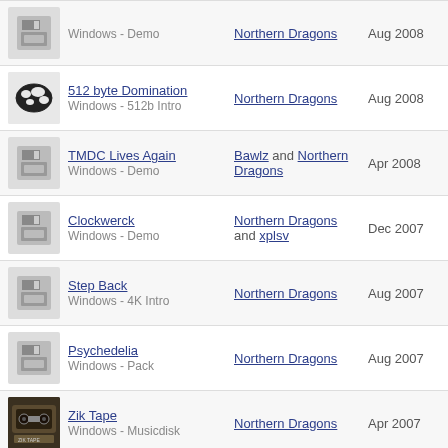Windows - Demo | Northern Dragons | Aug 2008
512 byte Domination | Windows - 512b Intro | Northern Dragons | Aug 2008
TMDC Lives Again | Windows - Demo | Bawlz and Northern Dragons | Apr 2008
Clockwerck | Windows - Demo | Northern Dragons and xplsv | Dec 2007
Step Back | Windows - 4K Intro | Northern Dragons | Aug 2007
Psychedelia | Windows - Pack | Northern Dragons | Aug 2007
Zik Tape | Windows - Musicdisk | Northern Dragons | Apr 2007
Trace-symbol | Windows - Demo | Northern Dragons | Apr 2007
Block Party Invite | Windows - Demo | Northern Dragons | Mar 2007
Signal to Droids | Windows - Demo | Northern Dragons | Dec 2006